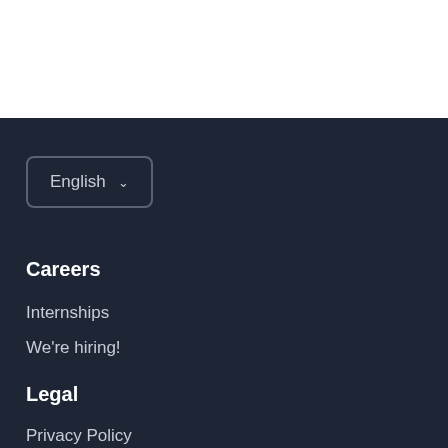English ▾
Careers
Internships
We're hiring!
Legal
Privacy Policy